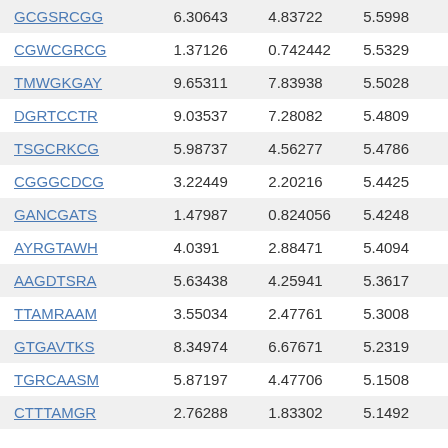| GCGSRCGG | 6.30643 | 4.83722 | 5.5998 |
| CGWCGRCG | 1.37126 | 0.742442 | 5.5329 |
| TMWGKGAY | 9.65311 | 7.83938 | 5.5028 |
| DGRTCCTR | 9.03537 | 7.28082 | 5.4809 |
| TSGCRKCG | 5.98737 | 4.56277 | 5.4786 |
| CGGGCDCG | 3.22449 | 2.20216 | 5.4425 |
| GANCGATS | 1.47987 | 0.824056 | 5.4248 |
| AYRGTAWH | 4.0391 | 2.88471 | 5.4094 |
| AAGDTSRA | 5.63438 | 4.25941 | 5.3617 |
| TTAMRAAM | 3.55034 | 2.47761 | 5.3008 |
| GTGAVTKS | 8.34974 | 6.67671 | 5.2319 |
| TGRCAASM | 5.87197 | 4.47706 | 5.1508 |
| CTTTAMGR | 2.76288 | 1.83302 | 5.1492 |